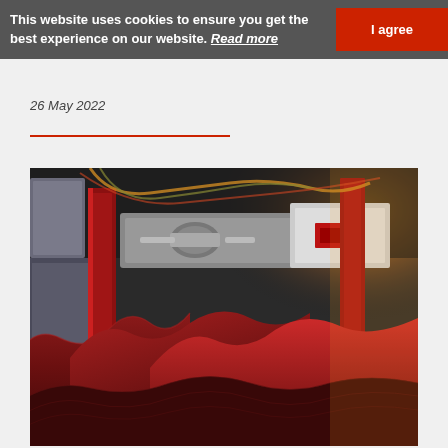This website uses cookies to ensure you get the best experience on our website. Read more  I agree
26 May 2022
[Figure (photo): Industrial roofing tile manufacturing machinery with red corrugated roof tiles in the foreground and red metal industrial equipment and machinery in the background, with warm golden sunlight coming from the right side.]